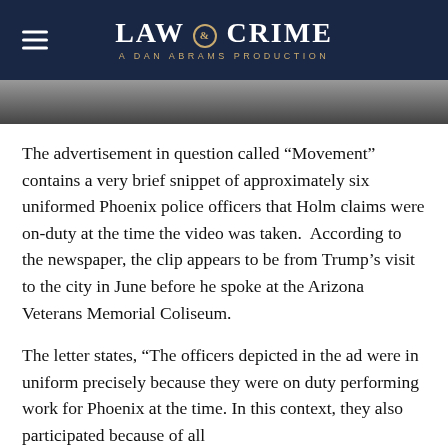LAW & CRIME — A DAN ABRAMS PRODUCTION
[Figure (photo): Partial photo strip showing people in a dark setting, partially cropped at the top of the article]
The advertisement in question called “Movement” contains a very brief snippet of approximately six uniformed Phoenix police officers that Holm claims were on-duty at the time the video was taken. According to the newspaper, the clip appears to be from Trump’s visit to the city in June before he spoke at the Arizona Veterans Memorial Coliseum.
The letter states, “The officers depicted in the ad were in uniform precisely because they were on duty performing work for Phoenix at the time. In this context, they also participated because of all